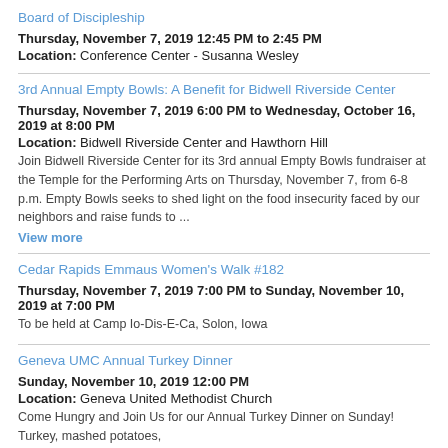Board of Discipleship
Thursday, November 7, 2019 12:45 PM to 2:45 PM
Location: Conference Center - Susanna Wesley
3rd Annual Empty Bowls: A Benefit for Bidwell Riverside Center
Thursday, November 7, 2019 6:00 PM to Wednesday, October 16, 2019 at 8:00 PM
Location: Bidwell Riverside Center and Hawthorn Hill
Join Bidwell Riverside Center for its 3rd annual Empty Bowls fundraiser at the Temple for the Performing Arts on Thursday, November 7, from 6-8 p.m. Empty Bowls seeks to shed light on the food insecurity faced by our neighbors and raise funds to ...
View more
Cedar Rapids Emmaus Women's Walk #182
Thursday, November 7, 2019 7:00 PM to Sunday, November 10, 2019 at 7:00 PM
To be held at Camp Io-Dis-E-Ca, Solon, Iowa
Geneva UMC Annual Turkey Dinner
Sunday, November 10, 2019 12:00 PM
Location: Geneva United Methodist Church
Come Hungry and Join Us for our Annual Turkey Dinner on Sunday! Turkey, mashed potatoes,